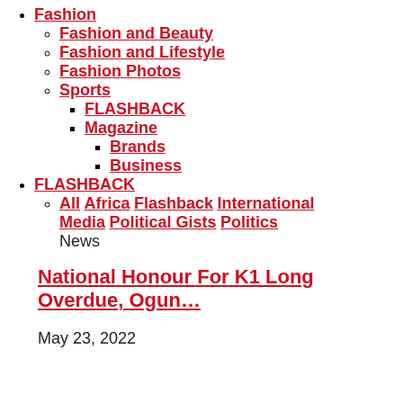Fashion
Fashion and Beauty
Fashion and Lifestyle
Fashion Photos
Sports
FLASHBACK
Magazine
Brands
Business
FLASHBACK
All Africa Flashback International Media Political Gists Politics News
National Honour For K1 Long Overdue, Ogun…
May 23, 2022